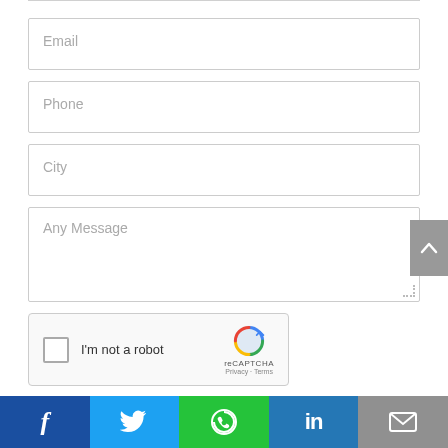Email
Phone
City
Any Message
[Figure (other): reCAPTCHA widget with checkbox labeled I'm not a robot]
Submit
[Figure (other): Social media share bar with Facebook, Twitter, WhatsApp, LinkedIn, Email icons]